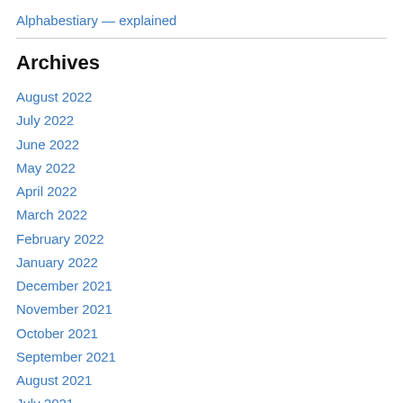Alphabestiary — explained
Archives
August 2022
July 2022
June 2022
May 2022
April 2022
March 2022
February 2022
January 2022
December 2021
November 2021
October 2021
September 2021
August 2021
July 2021
June 2021